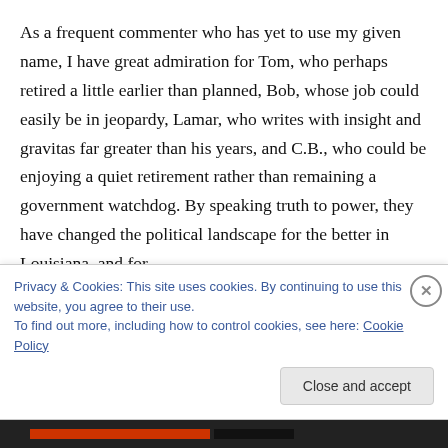As a frequent commenter who has yet to use my given name, I have great admiration for Tom, who perhaps retired a little earlier than planned, Bob, whose job could easily be in jeopardy, Lamar, who writes with insight and gravitas far greater than his years, and C.B., who could be enjoying a quiet retirement rather than remaining a government watchdog. By speaking truth to power, they have changed the political landscape for the better in Louisiana, and for
Privacy & Cookies: This site uses cookies. By continuing to use this website, you agree to their use.
To find out more, including how to control cookies, see here: Cookie Policy
Close and accept